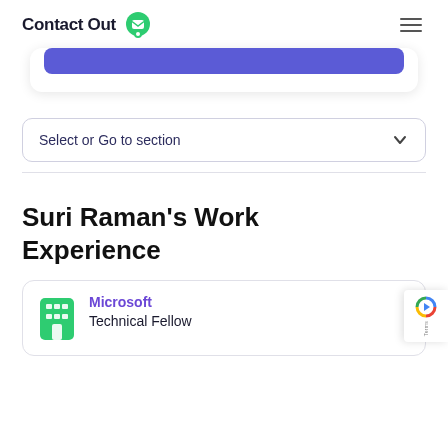ContactOut
[Figure (screenshot): Partially visible blue button/card at top of page]
Select or Go to section
Suri Raman's Work Experience
Microsoft
Technical Fellow